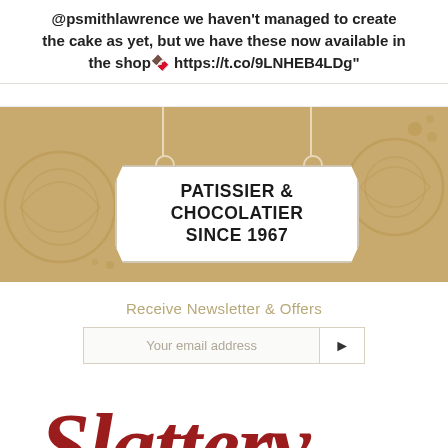@psmithlawrence we haven't managed to create the cake as yet, but we have these now available in the shop 🍫 https://t.co/9LNHEB4LDg"
[Figure (illustration): Tan/gold bakery banner with decorative swirl background. A white hanging sign reads 'PATISSIER & CHOCOLATIER SINCE 1967' in bold uppercase text, hanging from two strings with circular hooks.]
Receive Newsletter & Offers
Your email address
[Figure (logo): Slattery script logo in dark red/maroon color on white background]